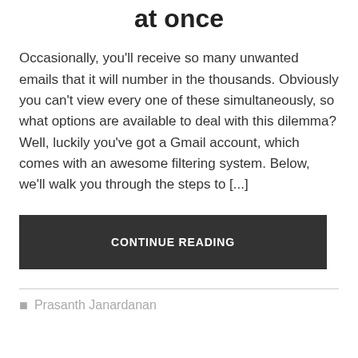at once
Occasionally, you'll receive so many unwanted emails that it will number in the thousands. Obviously you can't view every one of these simultaneously, so what options are available to deal with this dilemma? Well, luckily you've got a Gmail account, which comes with an awesome filtering system. Below, we'll walk you through the steps to [...]
CONTINUE READING
Prasanth Janardanan